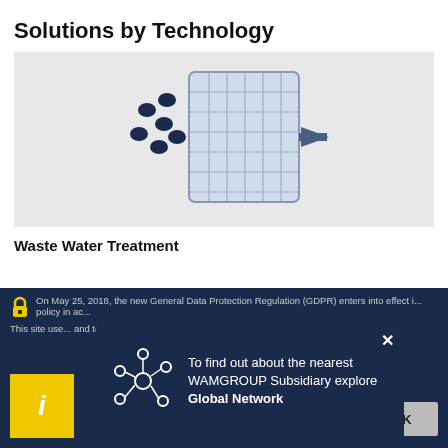Solutions by Technology
[Figure (illustration): Illustration of a filtration membrane/filter element with dark oval particles passing through a cross-hatched panel structure, with a large arrow pointing right, on a light grey background]
Waste Water Treatment
On May 25, 2018, the new General Data Protection Regulation (GDPR) enters into effect in all countries... policy in ac...
This site use... and to prov... this page or... to learn mo... and Cookies
[Figure (illustration): Network/hub icon showing a central circle connected to several smaller circles via lines, in white outline style]
To find out about the nearest WAMGROUP Subsidiary explore Global Network